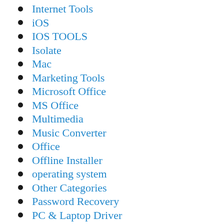Internet Tools
iOS
IOS TOOLS
Isolate
Mac
Marketing Tools
Microsoft Office
MS Office
Multimedia
Music Converter
Office
Offline Installer
operating system
Other Categories
Password Recovery
PC & Laptop Driver